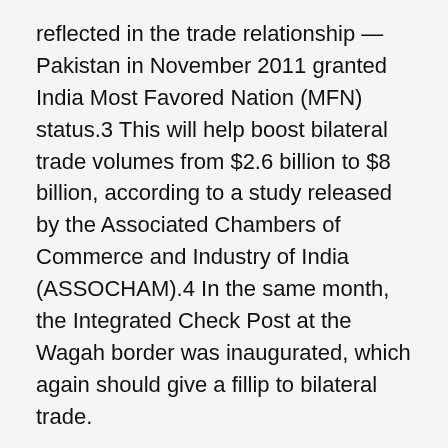reflected in the trade relationship — Pakistan in November 2011 granted India Most Favored Nation (MFN) status.3 This will help boost bilateral trade volumes from $2.6 billion to $8 billion, according to a study released by the Associated Chambers of Commerce and Industry of India (ASSOCHAM).4 In the same month, the Integrated Check Post at the Wagah border was inaugurated, which again should give a fillip to bilateral trade.
A series of other steps have been taken to boost commercial and trade relations. By March 31, 2013, two Pakistani banks will be allowed to operate in India, while three Indian banks will be allowed to operate in Pakistan. The two countries have also signed agreements on commercial dispute resolution and customs co-operation to facilitate bilateral trade, bringing down each country's so-called sensitive list of tariff lines to 100 for India by April 2012 and to the same number for Pakistan by